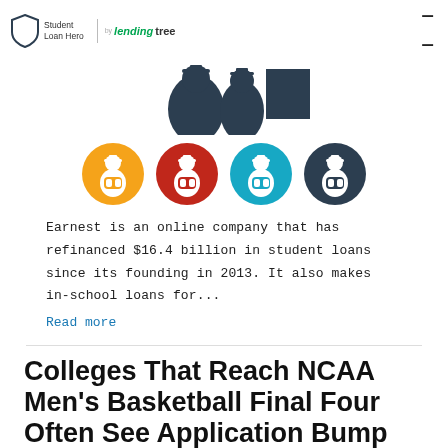Student Loan Hero | lendingtree
[Figure (illustration): Partial view of student loan hero infographic with person and document icons in dark color, cropped at top]
[Figure (illustration): Four circular icons each showing a graduation-capped student figure: orange, red, teal, and dark navy circles]
Earnest is an online company that has refinanced $16.4 billion in student loans since its founding in 2013. It also makes in-school loans for...
Read more
Colleges That Reach NCAA Men's Basketball Final Four Often See Application Bump